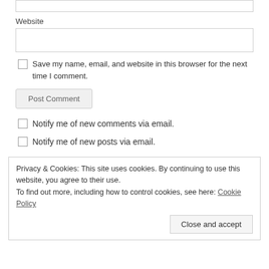Website
Save my name, email, and website in this browser for the next time I comment.
Post Comment
Notify me of new comments via email.
Notify me of new posts via email.
Privacy & Cookies: This site uses cookies. By continuing to use this website, you agree to their use.
To find out more, including how to control cookies, see here: Cookie Policy
Close and accept